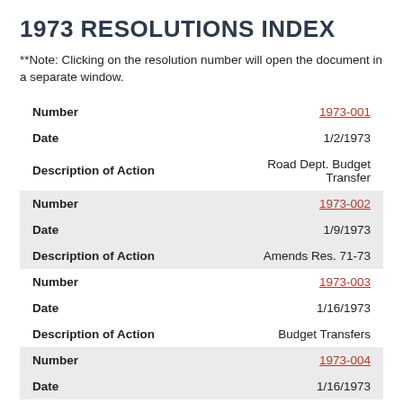1973 RESOLUTIONS INDEX
**Note: Clicking on the resolution number will open the document in a separate window.
| Field | Value |
| --- | --- |
| Number | 1973-001 |
| Date | 1/2/1973 |
| Description of Action | Road Dept. Budget Transfer |
| Number | 1973-002 |
| Date | 1/9/1973 |
| Description of Action | Amends Res. 71-73 |
| Number | 1973-003 |
| Date | 1/16/1973 |
| Description of Action | Budget Transfers |
| Number | 1973-004 |
| Date | 1/16/1973 |